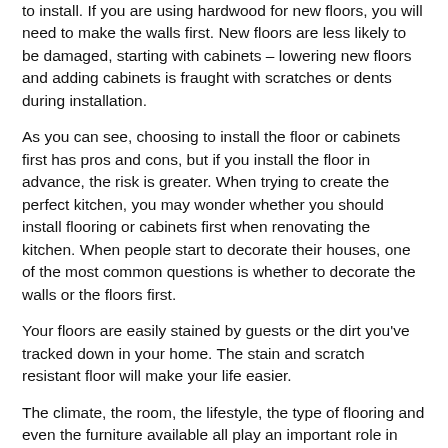to install. If you are using hardwood for new floors, you will need to make the walls first. New floors are less likely to be damaged, starting with cabinets – lowering new floors and adding cabinets is fraught with scratches or dents during installation.
As you can see, choosing to install the floor or cabinets first has pros and cons, but if you install the floor in advance, the risk is greater. When trying to create the perfect kitchen, you may wonder whether you should install flooring or cabinets first when renovating the kitchen. When people start to decorate their houses, one of the most common questions is whether to decorate the walls or the floors first.
Your floors are easily stained by guests or the dirt you've tracked down in your home. The stain and scratch resistant floor will make your life easier.
The climate, the room, the lifestyle, the type of flooring and even the furniture available all play an important role in choosing the right flooring for your home. Whether you plan to stay in the home for a long time or want to sell, you can improve the look of your